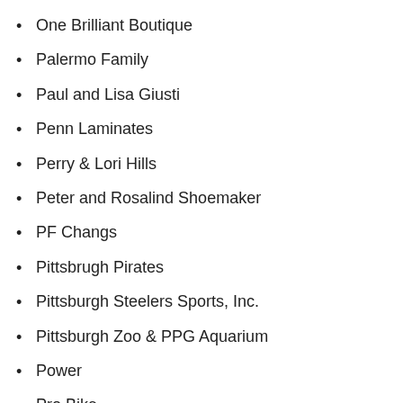One Brilliant Boutique
Palermo Family
Paul and Lisa Giusti
Penn Laminates
Perry & Lori Hills
Peter and Rosalind Shoemaker
PF Changs
Pittsbrugh Pirates
Pittsburgh Steelers Sports, Inc.
Pittsburgh Zoo & PPG Aquarium
Power
Pro Bike
Quantum Theatre
Questeq
R. Diccio Home Improvements